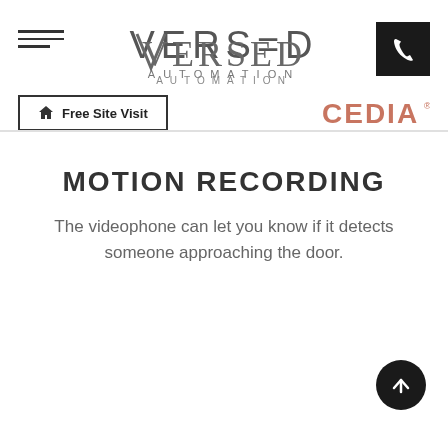[Figure (logo): Versed Automation logo with stylized text and AUTOMATION subtitle]
[Figure (logo): CEDIA logo in copper/rose gold color]
Free Site Visit
MOTION RECORDING
The videophone can let you know if it detects someone approaching the door.